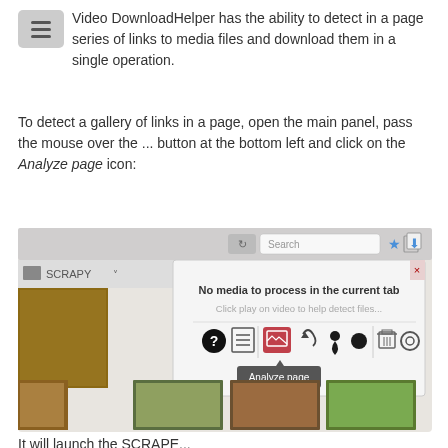Video DownloadHelper has the ability to detect in a page series of links to media files and download them in a single operation.
To detect a gallery of links in a page, open the main panel, pass the mouse over the ... button at the bottom left and click on the Analyze page icon:
[Figure (screenshot): Browser extension popup screenshot showing 'No media to process in the current tab' message with toolbar icons including a highlighted 'Analyze page' icon with tooltip, and a gallery of thumbnail images in the background]
It will launch the SCRAPE...